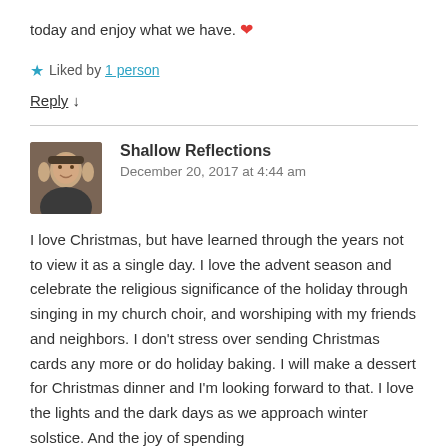today and enjoy what we have. ❤️
★ Liked by 1 person
Reply ↓
Shallow Reflections
December 20, 2017 at 4:44 am
I love Christmas, but have learned through the years not to view it as a single day. I love the advent season and celebrate the religious significance of the holiday through singing in my church choir, and worshiping with my friends and neighbors. I don't stress over sending Christmas cards any more or do holiday baking. I will make a dessert for Christmas dinner and I'm looking forward to that. I love the lights and the dark days as we approach winter solstice. And the joy of spending